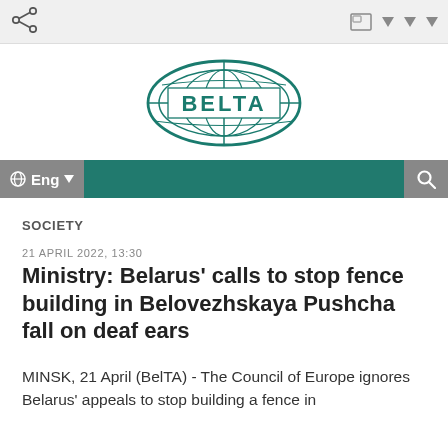[Figure (logo): BELTA news agency logo — oval globe shape with grid lines, teal/dark green color, text BELTA in the center]
SOCIETY
21 APRIL 2022, 13:30
Ministry: Belarus' calls to stop fence building in Belovezhskaya Pushcha fall on deaf ears
MINSK, 21 April (BelTA) - The Council of Europe ignores Belarus' appeals to stop building a fence in